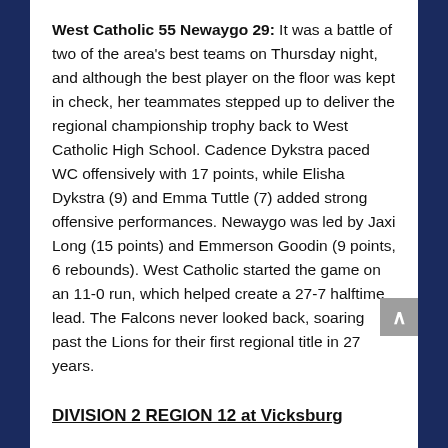West Catholic 55 Newaygo 29: It was a battle of two of the area's best teams on Thursday night, and although the best player on the floor was kept in check, her teammates stepped up to deliver the regional championship trophy back to West Catholic High School. Cadence Dykstra paced WC offensively with 17 points, while Elisha Dykstra (9) and Emma Tuttle (7) added strong offensive performances. Newaygo was led by Jaxi Long (15 points) and Emmerson Goodin (9 points, 6 rebounds). West Catholic started the game on an 11-0 run, which helped create a 27-7 halftime lead. The Falcons never looked back, soaring past the Lions for their first regional title in 27 years.
DIVISION 2 REGION 12 at Vicksburg